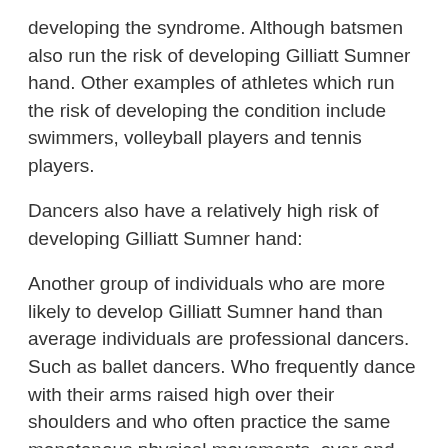developing the syndrome. Although batsmen also run the risk of developing Gilliatt Sumner hand. Other examples of athletes which run the risk of developing the condition include swimmers, volleyball players and tennis players.
Dancers also have a relatively high risk of developing Gilliatt Sumner hand:
Another group of individuals who are more likely to develop Gilliatt Sumner hand than average individuals are professional dancers. Such as ballet dancers. Who frequently dance with their arms raised high over their shoulders and who often practice the same monotonous physical movements, over and over.
Can physical therapy help?